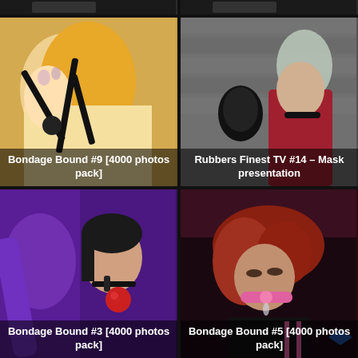[Figure (photo): Partial top strip of two thumbnails from previous row]
[Figure (photo): Bondage Bound #9 [4000 photos pack] - thumbnail showing woman in orange latex with black harness and ball gag]
Bondage Bound #9 [4000 photos pack]
[Figure (photo): Rubbers Finest TV #14 – Mask presentation - thumbnail showing woman in red latex standing by stone wall]
Rubbers Finest TV #14 – Mask presentation
[Figure (photo): Bondage Bound #3 [4000 photos pack] - thumbnail showing woman in purple latex with red ball gag]
Bondage Bound #3 [4000 photos pack]
[Figure (photo): Bondage Bound #5 [4000 photos pack] - thumbnail showing woman with pink restraint]
Bondage Bound #5 [4000 photos pack]